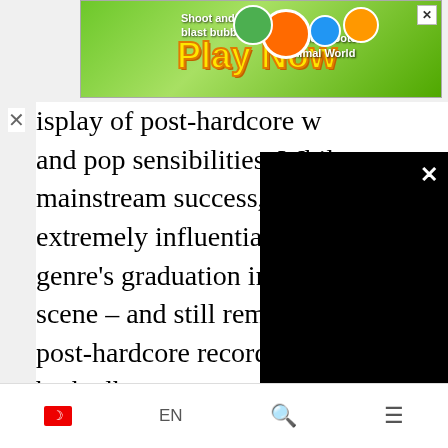[Figure (screenshot): Green bubble shooter game advertisement banner with 'Shoot and blast bubbles!' text, 'Play Now' in large yellow font, cartoon animal characters, and Bubble Shooter Animal World branding. Close X button in top right.]
isplay of post-hardcore w... and pop sensibilities. While... mainstream success, these... extremely influential and s... genre's graduation into the... scene – and still remain as... post-hardcore records toda... both albums were turning... paid attention. And that's w... hardcore started to head to... plateau.
[Figure (screenshot): Black video player overlay with X close button in top right corner and pause (double vertical bar) button at bottom center.]
🇹🇷  EN  🔍  ☰